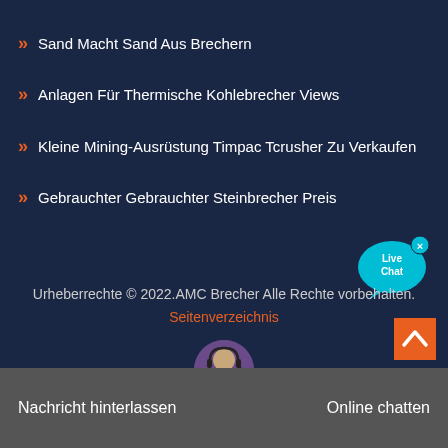Sand Macht Sand Aus Brechern
Anlagen Für Thermische Kohlebrecher Views
Kleine Mining-Ausrüstung Timpac Tcrusher Zu Verkaufen
Gebrauchter Gebrauchter Steinbrecher Preis
[Figure (illustration): Live Chat speech bubble icon in cyan/blue with 'Live Chat' text and an X close button]
Urheberrechte © 2022.AMC Brecher Alle Rechte vorbehalten. Seitenverzeichnis
[Figure (illustration): Orange square scroll-to-top button with upward chevron arrow]
Nachricht hinterlassen   Online chatten